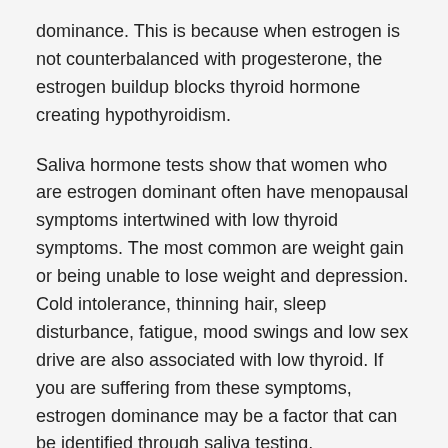dominance. This is because when estrogen is not counterbalanced with progesterone, the estrogen buildup blocks thyroid hormone creating hypothyroidism.
Saliva hormone tests show that women who are estrogen dominant often have menopausal symptoms intertwined with low thyroid symptoms. The most common are weight gain or being unable to lose weight and depression. Cold intolerance, thinning hair, sleep disturbance, fatigue, mood swings and low sex drive are also associated with low thyroid. If you are suffering from these symptoms, estrogen dominance may be a factor that can be identified through saliva testing.
Depression and Mood Swings
Many women experience mood swings and